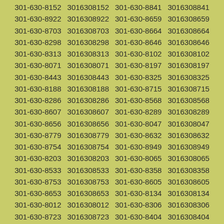| 301-630-8397 | 3016308397 | 301-630-8548 | 3016308548 |
| 301-630-8541 | 3016308541 | 301-630-8179 | 3016308179 |
| 301-630-8660 | 3016308660 | 301-630-8454 | 3016308454 |
| 301-630-8152 | 3016308152 | 301-630-8841 | 3016308841 |
| 301-630-8922 | 3016308922 | 301-630-8659 | 3016308659 |
| 301-630-8703 | 3016308703 | 301-630-8664 | 3016308664 |
| 301-630-8298 | 3016308298 | 301-630-8646 | 3016308646 |
| 301-630-8313 | 3016308313 | 301-630-8102 | 3016308102 |
| 301-630-8071 | 3016308071 | 301-630-8197 | 3016308197 |
| 301-630-8443 | 3016308443 | 301-630-8325 | 3016308325 |
| 301-630-8188 | 3016308188 | 301-630-8715 | 3016308715 |
| 301-630-8286 | 3016308286 | 301-630-8568 | 3016308568 |
| 301-630-8607 | 3016308607 | 301-630-8289 | 3016308289 |
| 301-630-8656 | 3016308656 | 301-630-8047 | 3016308047 |
| 301-630-8779 | 3016308779 | 301-630-8632 | 3016308632 |
| 301-630-8754 | 3016308754 | 301-630-8949 | 3016308949 |
| 301-630-8203 | 3016308203 | 301-630-8065 | 3016308065 |
| 301-630-8533 | 3016308533 | 301-630-8358 | 3016308358 |
| 301-630-8753 | 3016308753 | 301-630-8605 | 3016308605 |
| 301-630-8653 | 3016308653 | 301-630-8134 | 3016308134 |
| 301-630-8012 | 3016308012 | 301-630-8306 | 3016308306 |
| 301-630-8723 | 3016308723 | 301-630-8404 | 3016308404 |
| 301-630-8141 | 3016308141 | 301-630-8251 | 3016308251 |
| 301-630-8583 | 3016308583 | 301-630-8846 | 3016308846 |
| 301-630-8673 | 3016308673 | 301-630-8815 | 3016308815 |